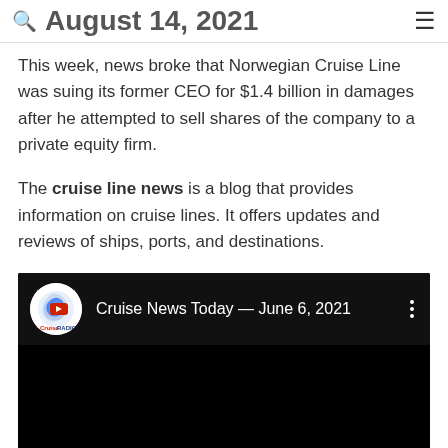August 14, 2021
This week, news broke that Norwegian Cruise Line was suing its former CEO for $1.4 billion in damages after he attempted to sell shares of the company to a private equity firm.
The cruise line news is a blog that provides information on cruise lines. It offers updates and reviews of ships, ports, and destinations.
[Figure (screenshot): YouTube video embed showing 'Cruise News Today — June 6, 2021' with Cruise Radio logo on dark background]